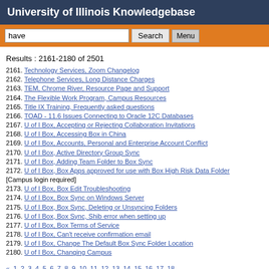University of Illinois Knowledgebase
Results : 2161-2180 of 2501
2161. Technology Services, Zoom Changelog
2162. Telephone Services, Long Distance Charges
2163. TEM, Chrome River, Resource Page and Support
2164. The Flexible Work Program, Campus Resources
2165. Title IX Training, Frequently asked questions
2166. TOAD - 11.6 Issues Connecting to Oracle 12C Databases
2167. U of I Box, Accepting or Rejecting Collaboration Invitations
2168. U of I Box, Accessing Box in China
2169. U of I Box, Accounts, Personal and Enterprise Account Conflict
2170. U of I Box, Active Directory Group Sync
2171. U of I Box, Adding Team Folder to Box Sync
2172. U of I Box, Box Apps approved for use with Box High Risk Data Folder [Campus login required]
2173. U of I Box, Box Edit Troubleshooting
2174. U of I Box, Box Sync on Windows Server
2175. U of I Box, Box Sync, Deleting or Unsyncing Folders
2176. U of I Box, Box Sync, Shib error when setting up
2177. U of I Box, Box Terms of Service
2178. U of I Box, Can't receive confirmation email
2179. U of I Box, Change The Default Box Sync Folder Location
2180. U of I Box, Changing Campus
« 1 2 3 4 5 6 7 8 9 10 11 12 13 14 15 16 17 18 19 20 21 22 23 24 25 26 27 28 29 30 31 32 33 34